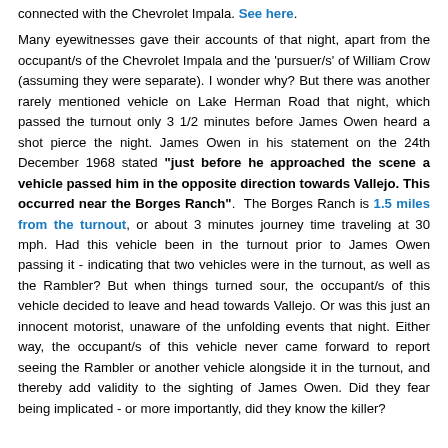connected with the Chevrolet Impala. See here.
Many eyewitnesses gave their accounts of that night, apart from the occupant/s of the Chevrolet Impala and the 'pursuer/s' of William Crow (assuming they were separate). I wonder why? But there was another rarely mentioned vehicle on Lake Herman Road that night, which passed the turnout only 3 1/2 minutes before James Owen heard a shot pierce the night. James Owen in his statement on the 24th December 1968 stated "just before he approached the scene a vehicle passed him in the opposite direction towards Vallejo. This occurred near the Borges Ranch". The Borges Ranch is 1.5 miles from the turnout, or about 3 minutes journey time traveling at 30 mph. Had this vehicle been in the turnout prior to James Owen passing it - indicating that two vehicles were in the turnout, as well as the Rambler? But when things turned sour, the occupant/s of this vehicle decided to leave and head towards Vallejo. Or was this just an innocent motorist, unaware of the unfolding events that night. Either way, the occupant/s of this vehicle never came forward to report seeing the Rambler or another vehicle alongside it in the turnout, and thereby add validity to the sighting of James Owen. Did they fear being implicated - or more importantly, did they know the killer?